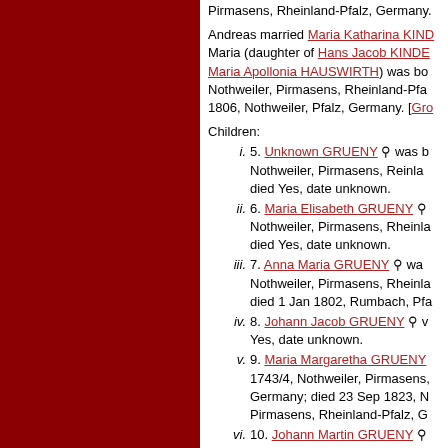Pirmasens, Rheinland-Pfalz, Germany.
Andreas married Maria Katharina KINDE. Maria (daughter of Hans Jacob KINDE and Maria Apollonia HAUSWIRTH) was born in Nothweiler, Pirmasens, Rheinland-Pfalz and died 1806, Nothweiler, Pfalz, Germany. [Gro
Children:
i. 5. Unknown GRUENY was born in Nothweiler, Pirmasens, Rheinland- died Yes, date unknown.
ii. 6. Maria Elisabeth GRUENY was born in Nothweiler, Pirmasens, Rheinland- died Yes, date unknown.
iii. 7. Anna Maria GRUENY was born in Nothweiler, Pirmasens, Rheinla- died 1 Jan 1802, Rumbach, Pfa-
iv. 8. Johann Jacob GRUENY was born Yes, date unknown.
v. 9. Maria Margaretha GRUENY was born 1743/4, Nothweiler, Pirmasens, Germany; died 23 Sep 1823, N Pirmasens, Rheinland-Pfalz, G-
vi. 10. Johann Martin GRUENY was born 1748, Nothweiler, Pirmasens, R Germany; died 12 Nov 1823, N Pirmasens, Rheinland-Pfalz, G-
vii. 11. Johann Georg GRUENY was born 1751, Nothweiler, Pirmasens, R Germany; died 4 Mar 1794, No Rheinland-Pfalz, Germany.
viii. 12. Eva Elisabetha GRUENY